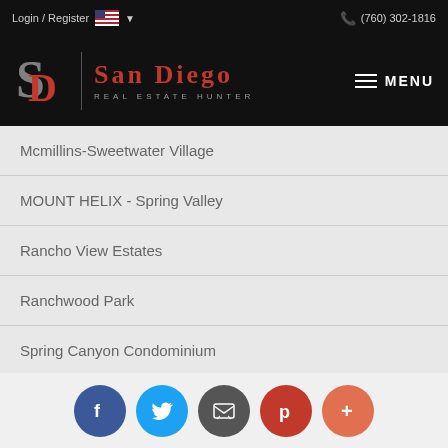Login / Register   (760) 302-1816
[Figure (logo): San Diego Real Estate Hunter logo with SD monogram and red serif text]
Mcmillins-Sweetwater Village
MOUNT HELIX - Spring Valley
Rancho View Estates
Ranchwood Park
Spring Canyon Condominium
Spring Valley Ranchos
Sweetwater Hills
[Figure (infographic): Social sharing buttons: Facebook, Twitter, Email, Pinterest, More (+)]